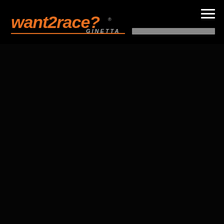[Figure (logo): want2race? Ginetta logo in orange and grey italic text with a horizontal underline, on black background]
[Figure (photo): Dark/black background main content area, mostly obscured or very dark image filling the page]